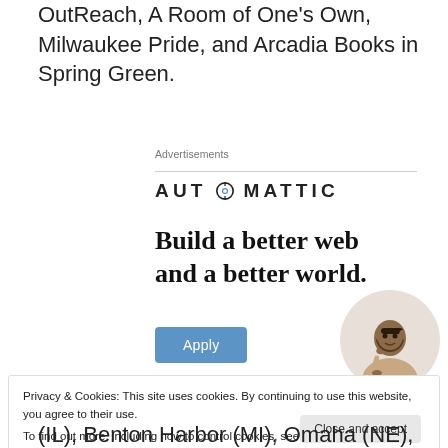OutReach, A Room of One's Own, Milwaukee Pride, and Arcadia Books in Spring Green.
Advertisements
[Figure (logo): Automattic logo with compass icon replacing the O, followed by ad content: 'Build a better web and a better world.' with an Apply button and photo of a person thinking]
Privacy & Cookies: This site uses cookies. By continuing to use this website, you agree to their use.
To find out more, including how to control cookies, see here: Cookie Policy
(IL), Benton Harbor (MI), Omaha (NE), Cable (WI),